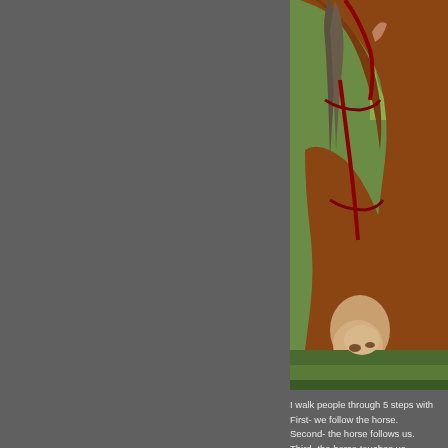[Figure (photo): Close-up photo of a brown horse with a red bridle/halter, head lowered to graze on green grass/ground cover. Taken outdoors in bright sunlight with shadow visible on grass.]
I walk people through 5 steps with
First- we follow the horse.
Second- the horse follows us.
Third- the horse touches us.